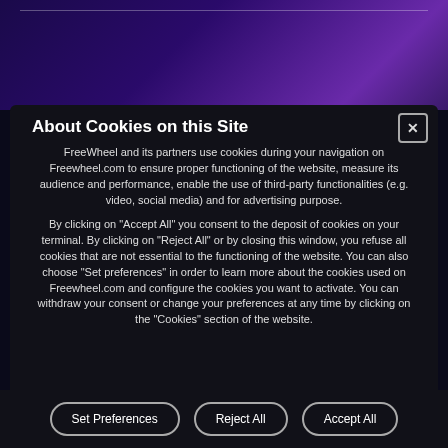[Figure (screenshot): Dark purple/navy website header background with diagonal gradient]
About Cookies on this Site
FreeWheel and its partners use cookies during your navigation on Freewheel.com to ensure proper functioning of the website, measure its audience and performance, enable the use of third-party functionalities (e.g. video, social media) and for advertising purpose.
By clicking on "Accept All" you consent to the deposit of cookies on your terminal. By clicking on "Reject All" or by closing this window, you refuse all cookies that are not essential to the functioning of the website. You can also choose "Set preferences" in order to learn more about the cookies used on Freewheel.com and configure the cookies you want to activate. You can withdraw your consent or change your preferences at any time by clicking on the "Cookies" section of the website.
Set Preferences   Reject All   Accept All